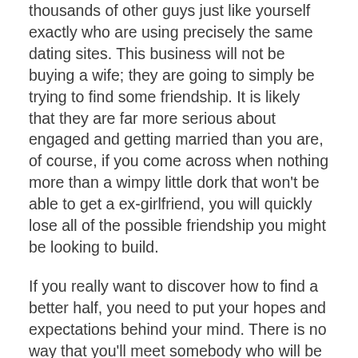thousands of other guys just like yourself exactly who are using precisely the same dating sites. This business will not be buying a wife; they are going to simply be trying to find some friendship. It is likely that they are far more serious about engaged and getting married than you are, of course, if you come across when nothing more than a wimpy little dork that won't be able to get a ex-girlfriend, you will quickly lose all of the possible friendship you might be looking to build.
If you really want to discover how to find a better half, you need to put your hopes and expectations behind your mind. There is no way that you'll meet somebody who will be ready and qualified to commit to marriage with you immediately. You will discover simply too various factors that can come into perform when you are trying to get a woman to